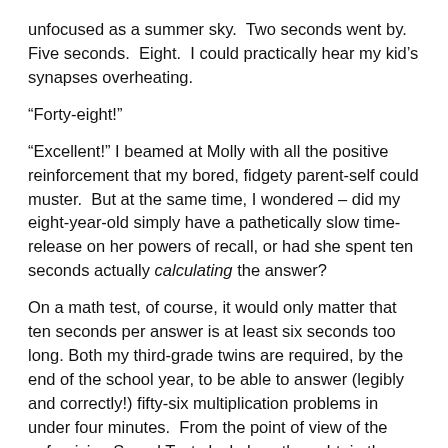unfocused as a summer sky.  Two seconds went by.  Five seconds.  Eight.  I could practically hear my kid's synapses overheating.
“Forty-eight!”
“Excellent!” I beamed at Molly with all the positive reinforcement that my bored, fidgety parent-self could muster.  But at the same time, I wondered – did my eight-year-old simply have a pathetically slow time-release on her powers of recall, or had she spent ten seconds actually calculating the answer?
On a math test, of course, it would only matter that ten seconds per answer is at least six seconds too long. Both my third-grade twins are required, by the end of the school year, to be able to answer (legibly and correctly!) fifty-six multiplication problems in under four minutes.  From the point of view of the unforgiving Speed Test clock, how they obtain the answers is immaterial.  From my point of view, however, the details of that invisible mental mystery make all the difference in the world.
(To the friend who has previously groaned, “Nancy, you’re mathing again” – yes.  Yes, I am.  My apologies.  Stop here, while you’re still safe.)